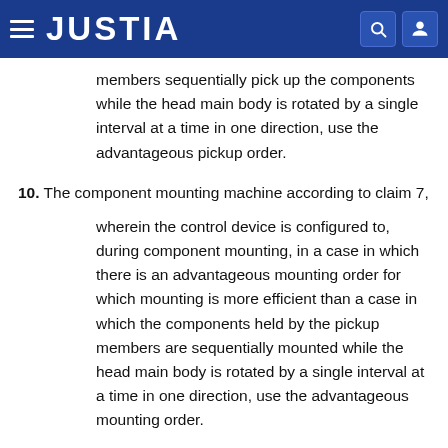JUSTIA
members sequentially pick up the components while the head main body is rotated by a single interval at a time in one direction, use the advantageous pickup order.
10. The component mounting machine according to claim 7,
wherein the control device is configured to, during component mounting, in a case in which there is an advantageous mounting order for which mounting is more efficient than a case in which the components held by the pickup members are sequentially mounted while the head main body is rotated by a single interval at a time in one direction, use the advantageous mounting order.
11. The component mounting machine according to